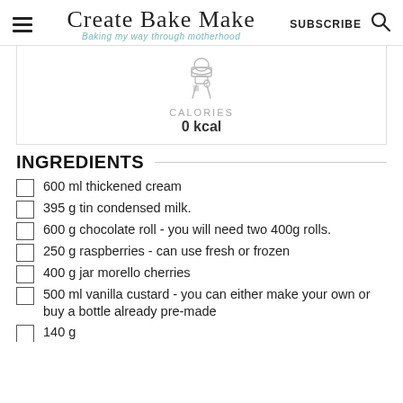Create Bake Make — Baking my way through motherhood — SUBSCRIBE
[Figure (illustration): Chef hat and crossed fork/spoon icon in light grey]
CALORIES
0 kcal
INGREDIENTS
600 ml thickened cream
395 g tin condensed milk.
600 g chocolate roll - you will need two 400g rolls.
250 g raspberries - can use fresh or frozen
400 g jar morello cherries
500 ml vanilla custard - you can either make your own or buy a bottle already pre-made
140 g...